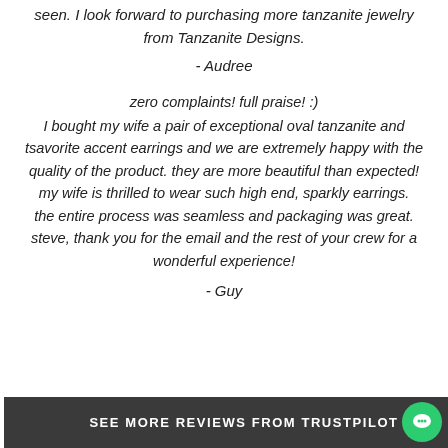seen. I look forward to purchasing more tanzanite jewelry from Tanzanite Designs.
- Audree
zero complaints! full praise! :)
I bought my wife a pair of exceptional oval tanzanite and tsavorite accent earrings and we are extremely happy with the quality of the product. they are more beautiful than expected! my wife is thrilled to wear such high end, sparkly earrings.
the entire process was seamless and packaging was great. steve, thank you for the email and the rest of your crew for a wonderful experience!
- Guy
SEE MORE REVIEWS FROM TRUSTPILOT